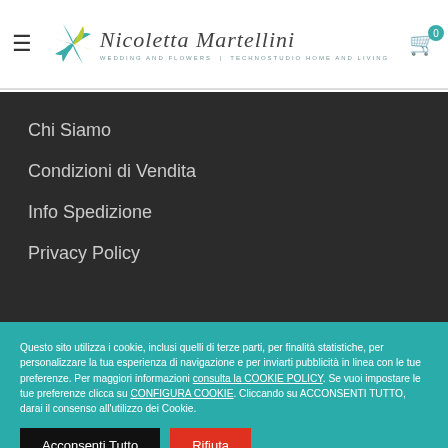Nicoletta Martellini — Wedding and Flowers | Technostudio Home and Living
Chi Siamo
Condizioni di Vendita
Info Spedizione
Privacy Policy
Questo sito utilizza i cookie, inclusi quelli di terze parti, per finalità statistiche, per personalizzare la tua esperienza di navigazione e per inviarti pubblicità in linea con le tue preferenze. Per maggiori informazioni consulta la COOKIE POLICY. Se vuoi impostare le tue preferenze clicca su CONFIGURA COOKIE. Cliccando su ACCONSENTI TUTTO, darai il consenso all'utilizzo dei Cookie.
Acconsenti Tutto | Rifiuta